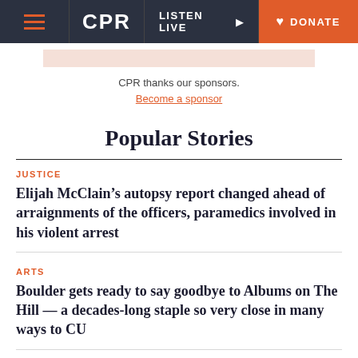CPR | LISTEN LIVE | DONATE
CPR thanks our sponsors. Become a sponsor
Popular Stories
JUSTICE
Elijah McClain’s autopsy report changed ahead of arraignments of the officers, paramedics involved in his violent arrest
ARTS
Boulder gets ready to say goodbye to Albums on The Hill — a decades-long staple so very close in many ways to CU